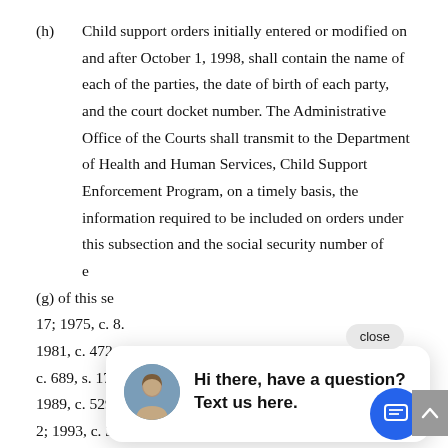(h) Child support orders initially entered or modified on and after October 1, 1998, shall contain the name of each of the parties, the date of birth of each party, and the court docket number. The Administrative Office of the Courts shall transmit to the Department of Health and Human Services, Child Support Enforcement Program, on a timely basis, the information required to be included on orders under this subsection and the social security number of each party pursuant to subsection (g) of this section.
17; 1975, c. 8.
1981, c. 472; c. 613, ss. 1, 3; 1983, c. 54; c. 530, s. 1; 1985, c. 689, s. 17; 1985 (Reg. Sess., 1986), c. 1016; 1989, c. 529, ss. 1, 2; 1989 (Reg. Sess., 1990), c. 1067, s. 2; 1993, c. 335, s. 1; c. 517, s. 5; 1995, c. 319, s. 9; c. 518,